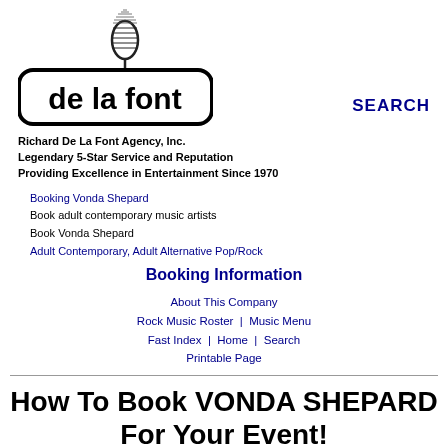[Figure (logo): De La Font agency logo with microphone icon above rounded rectangle containing text 'de la font']
SEARCH
Richard De La Font Agency, Inc.
Legendary 5-Star Service and Reputation
Providing Excellence in Entertainment Since 1970
Booking Vonda Shepard
Book adult contemporary music artists
Book Vonda Shepard
Adult Contemporary, Adult Alternative Pop/Rock
Booking Information
About This Company
Rock Music Roster | Music Menu
Fast Index | Home | Search
Printable Page
How To Book VONDA SHEPARD For Your Event!
Vonda Shepard may be available for your next